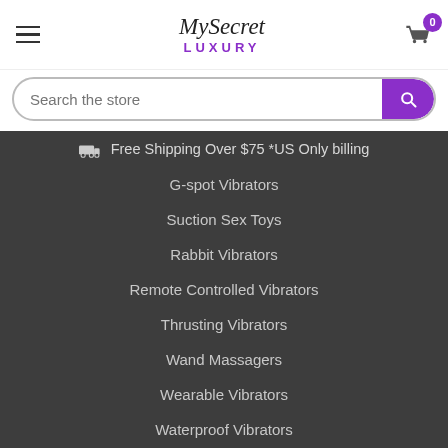MySecret LUXURY — hamburger menu, logo, cart (0)
Search the store
🚚 Free Shipping Over $75 *US Only billing
G-spot Vibrators
Suction Sex Toys
Rabbit Vibrators
Remote Controlled Vibrators
Thrusting Vibrators
Wand Massagers
Wearable Vibrators
Waterproof Vibrators
Bondage
BDSM Kits
Ball Cage